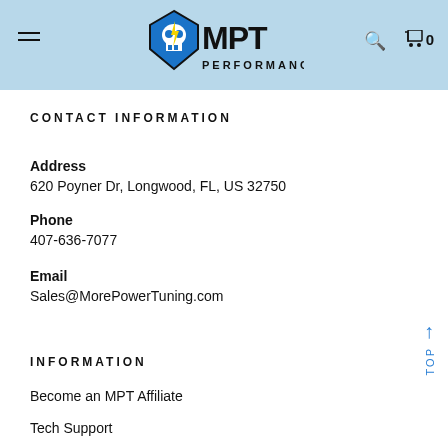MPT Performance - navigation header with logo, hamburger menu, search, and cart
CONTACT INFORMATION
Address
620 Poyner Dr, Longwood, FL, US 32750
Phone
407-636-7077
Email
Sales@MorePowerTuning.com
INFORMATION
Become an MPT Affiliate
Tech Support